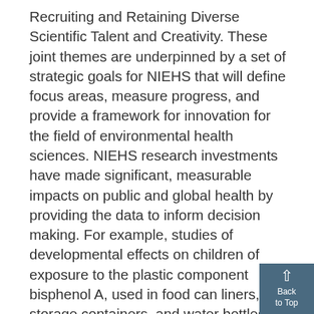Recruiting and Retaining Diverse Scientific Talent and Creativity. These joint themes are underpinned by a set of strategic goals for NIEHS that will define focus areas, measure progress, and provide a framework for innovation for the field of environmental health sciences. NIEHS research investments have made significant, measurable impacts on public and global health by providing the data to inform decision making. For example, studies of developmental effects on children of exposure to the plastic component bisphenol A, used in food can liners, storage containers, and water bottles, has led manufacturers to reformulate products without the toxic chemical.1 NIEHS-supported research on engineered nanomaterials continues to broaden our understanding of how such particles interact in the body and on specific organs, in both beneficial and